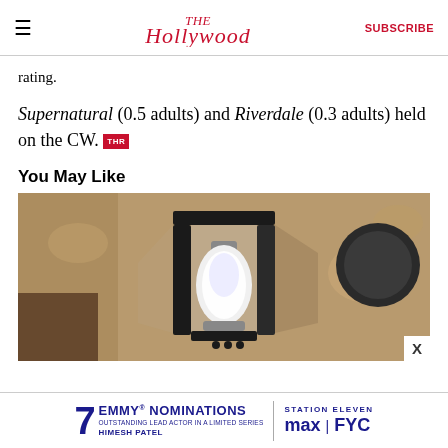The Hollywood Reporter | SUBSCRIBE
rating.
Supernatural (0.5 adults) and Riverdale (0.3 adults) held on the CW. THR
You May Like
[Figure (photo): Close-up photograph of a black outdoor wall-mounted lantern with a white bulb visible inside, mounted on a textured beige stucco wall.]
[Figure (infographic): Advertisement banner: 7 EMMY NOMINATIONS · OUTSTANDING LEAD ACTOR IN A LIMITED SERIES · HIMESH PATEL · STATION ELEVEN · max FYC]